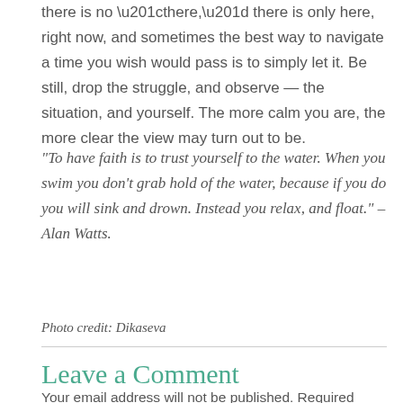there is no “there,” there is only here, right now, and sometimes the best way to navigate a time you wish would pass is to simply let it. Be still, drop the struggle, and observe — the situation, and yourself. The more calm you are, the more clear the view may turn out to be.
“To have faith is to trust yourself to the water. When you swim you don’t grab hold of the water, because if you do you will sink and drown. Instead you relax, and float.” – Alan Watts.
Photo credit: Dikaseva
Leave a Comment
Your email address will not be published. Required fields